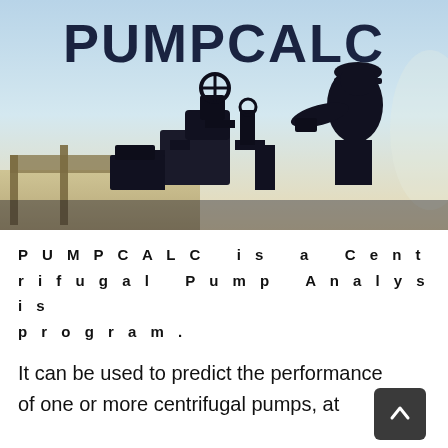[Figure (photo): Silhouette of a worker in a hard hat operating or inspecting industrial pump machinery, with a light blue sky background. The word PUMPCALC is overlaid in large bold dark text at the top of the image.]
PUMPCALC
PUMPCALC is a Centrifugal Pump Analysis program.
It can be used to predict the performance of one or more centrifugal pumps, at